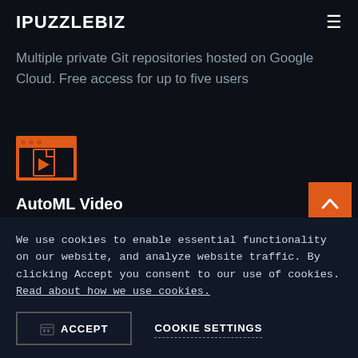IPUZZLEBIZ
Multiple private Git repositories hosted on Google Cloud. Free access for up to five users
[Figure (illustration): Orange icon of a browser window with a video/play button document inside]
AutoML Video
Train custom ML models to classify videos. 40 node
We use cookies to enable essential functionality on our website, and analyze website traffic. By clicking Accept you consent to our use of cookies. Read about how we use cookies.
ACCEPT
COOKIE SETTINGS